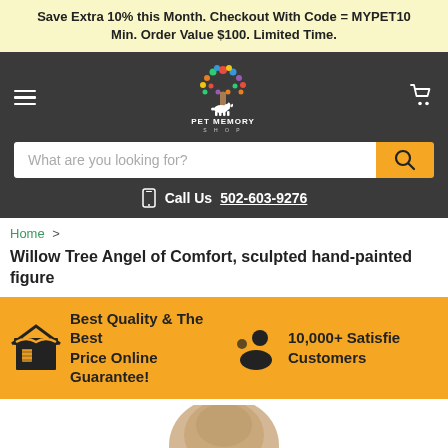Save Extra 10% this Month. Checkout With Code = MYPET10 Min. Order Value $100. Limited Time.
[Figure (logo): Pet Memory Shop logo: colorful tree with a dog silhouette and text PET MEMORY SHOP]
What are you looking for?
Call Us 502-603-9276
Home > Willow Tree Angel of Comfort, sculpted hand-painted figure
Best Quality & The Best Price Online Guarantee!
10,000+ Satisfied Customers
[Figure (photo): Product image of Willow Tree Angel of Comfort sculpted hand-painted figure partially visible at bottom]